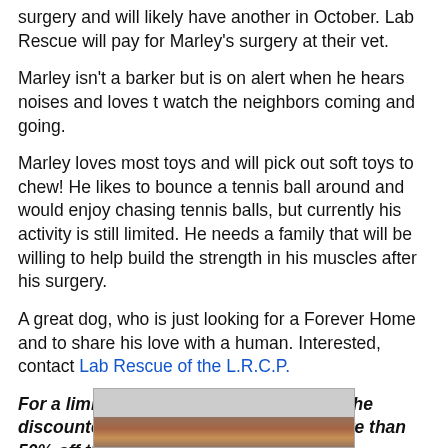surgery and will likely have another in October. Lab Rescue will pay for Marley's surgery at their vet.
Marley isn't a barker but is on alert when he hears noises and loves t watch the neighbors coming and going.
Marley loves most toys and will pick out soft toys to chew! He likes to bounce a tennis ball around and would enjoy chasing tennis balls, but currently his activity is still limited. He needs a family that will be willing to help build the strength in his muscles after his surgery.
A great dog, who is just looking for a Forever Home and to share his love with a human. Interested, contact Lab Rescue of the L.R.C.P.
For a limited time Marley is available at the discounted senior rate of only $100, more than 50% off the normal adoption fee!
[Figure (photo): Photo of Marley the dog, partially visible at the bottom of the page]